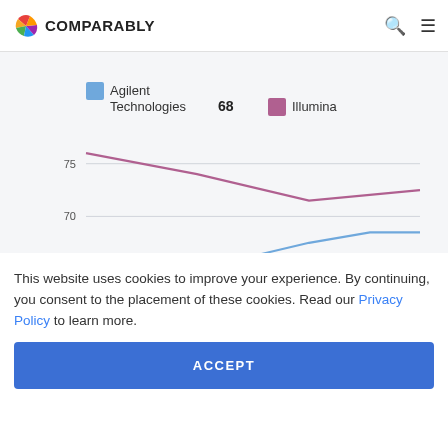COMPARABLY
[Figure (line-chart): ]
This website uses cookies to improve your experience. By continuing, you consent to the placement of these cookies. Read our Privacy Policy to learn more.
ACCEPT